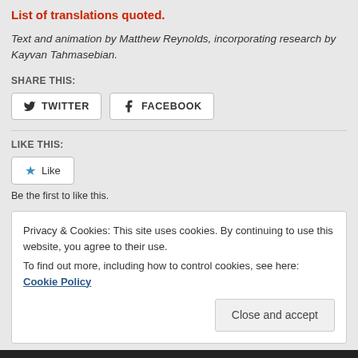List of translations quoted.
Text and animation by Matthew Reynolds, incorporating research by Kayvan Tahmasebian.
SHARE THIS:
TWITTER  FACEBOOK
LIKE THIS:
Like
Be the first to like this.
Privacy & Cookies: This site uses cookies. By continuing to use this website, you agree to their use. To find out more, including how to control cookies, see here: Cookie Policy
Close and accept